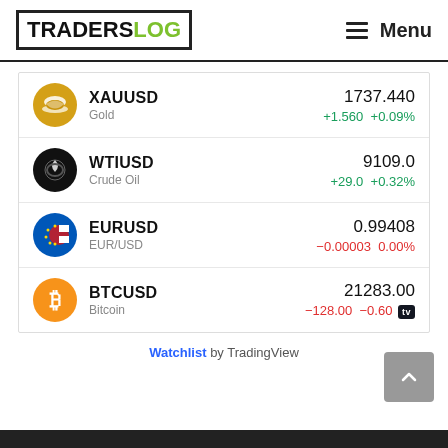TRADERSLOG | Menu
| Symbol | Name | Price | Change |
| --- | --- | --- | --- |
| XAUUSD | Gold | 1737.440 | +1.560 +0.09% |
| WTIUSD | Crude Oil | 9109.0 | +29.0 +0.32% |
| EURUSD | EUR/USD | 0.99408 | -0.00003 0.00% |
| BTCUSD | Bitcoin | 21283.00 | -128.00 -0.60 |
Watchlist by TradingView